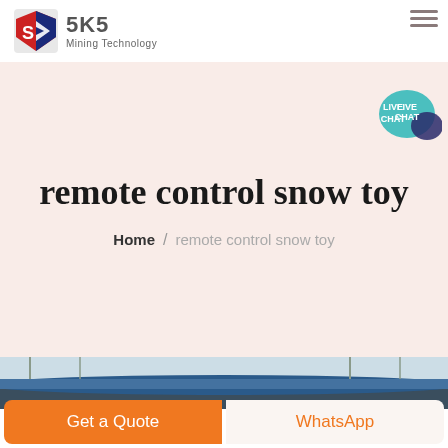[Figure (logo): SKS Mining Technology logo with red and blue shield icon and company name]
remote control snow toy
Home / remote control snow toy
[Figure (photo): Partial view of a large blue vehicle or machine outdoors with bare trees in background]
Get a Quote
WhatsApp